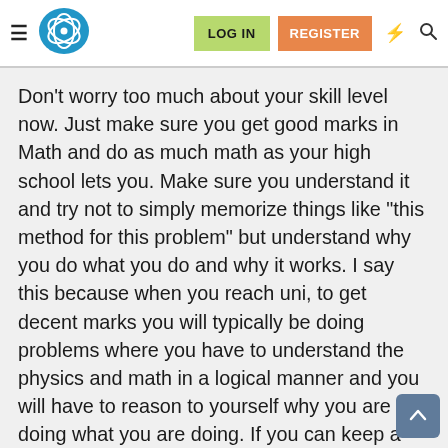LOG IN  REGISTER
Don't worry too much about your skill level now. Just make sure you get good marks in Math and do as much math as your high school lets you. Make sure you understand it and try not to simply memorize things like "this method for this problem" but understand why you do what you do and why it works. I say this because when you reach uni, to get decent marks you will typically be doing problems where you have to understand the physics and math in a logical manner and you will have to reason to yourself why you are doing what you are doing. If you can keep a "big picture" view of what you are doing this will help you when you get to uni.